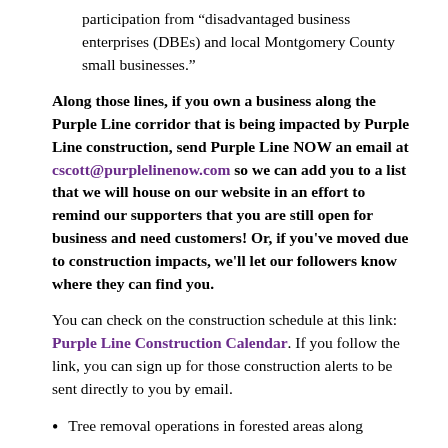participation from “disadvantaged business enterprises (DBEs) and local Montgomery County small businesses.”
Along those lines, if you own a business along the Purple Line corridor that is being impacted by Purple Line construction, send Purple Line NOW an email at cscott@purplelinenow.com so we can add you to a list that we will house on our website in an effort to remind our supporters that you are still open for business and need customers! Or, if you've moved due to construction impacts, we'll let our followers know where they can find you.
You can check on the construction schedule at this link: Purple Line Construction Calendar. If you follow the link, you can sign up for those construction alerts to be sent directly to you by email.
Tree removal operations in forested areas along